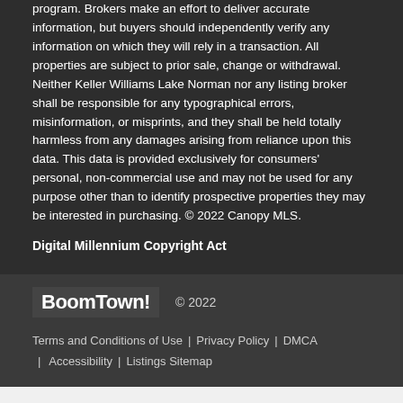program. Brokers make an effort to deliver accurate information, but buyers should independently verify any information on which they will rely in a transaction. All properties are subject to prior sale, change or withdrawal. Neither Keller Williams Lake Norman nor any listing broker shall be responsible for any typographical errors, misinformation, or misprints, and they shall be held totally harmless from any damages arising from reliance upon this data. This data is provided exclusively for consumers' personal, non-commercial use and may not be used for any purpose other than to identify prospective properties they may be interested in purchasing. © 2022 Canopy MLS.
Digital Millennium Copyright Act
BoomTown! © 2022 | Terms and Conditions of Use | Privacy Policy | DMCA | Accessibility | Listings Sitemap
Take a Tour | Ask A Question